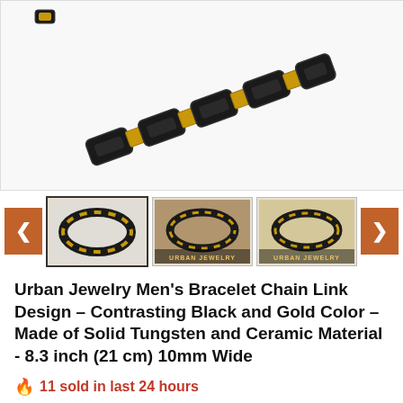[Figure (photo): Close-up of a black and gold chain link bracelet against a white background, showing the interlocking tungsten and ceramic links.]
[Figure (photo): Thumbnail carousel with three bracelet images. First thumbnail (selected): bracelet flat on white. Second: bracelet on wooden surface labeled URBAN JEWELRY. Third: bracelet on white labeled URBAN JEWELRY. Navigation arrows on left and right.]
Urban Jewelry Men's Bracelet Chain Link Design – Contrasting Black and Gold Color – Made of Solid Tungsten and Ceramic Material - 8.3 inch (21 cm) 10mm Wide
🔥 11 sold in last 24 hours